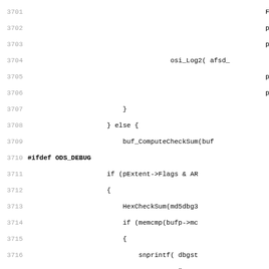Source code listing lines 3701-3732, showing C code with preprocessor directives, function calls including osi_Log2, buf_ComputeCheckSum, HexCheckSum, memcmp, snprintf, OutputDebugString, and conditional blocks with ODS_DEBUG ifdef.